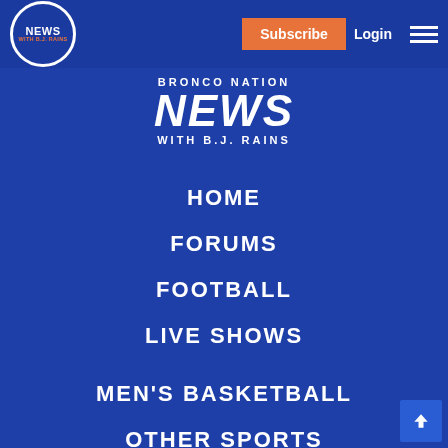[Figure (logo): Bronco Nation News with B.J. Rains circular logo in header]
Subscribe
Login
BRONCO NATION NEWS WITH B.J. RAINS
HOME
FORUMS
FOOTBALL
LIVE SHOWS
MEN'S BASKETBALL
OTHER SPORTS
ABOUT US